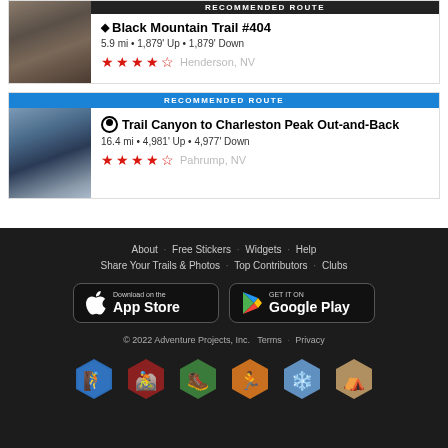[Figure (photo): Rocky mountain trail photo for Black Mountain Trail #404]
RECOMMENDED ROUTE
♦ Black Mountain Trail #404
5.9 mi • 1,879' Up • 1,879' Down
★★★★½  Henderson, NV
[Figure (photo): Mountain canyon trail photo for Trail Canyon to Charleston Peak Out-and-Back]
RECOMMENDED ROUTE
⬤ Trail Canyon to Charleston Peak Out-and-Back
16.4 mi • 4,981' Up • 4,977' Down
★★★★½  Pahrump, NV
About · Free Stickers · Widgets · Help
Share Your Trails & Photos · Top Contributors · Clubs
© 2022 Adventure Projects, Inc.  Terms · Privacy